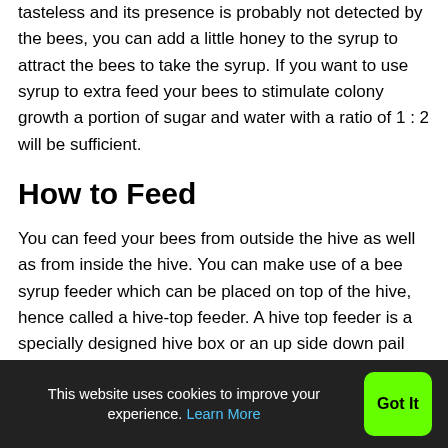tasteless and its presence is probably not detected by the bees, you can add a little honey to the syrup to attract the bees to take the syrup. If you want to use syrup to extra feed your bees to stimulate colony growth a portion of sugar and water with a ratio of 1 : 2 will be sufficient.
How to Feed
You can feed your bees from outside the hive as well as from inside the hive. You can make use of a bee syrup feeder which can be placed on top of the hive, hence called a hive-top feeder. A hive top feeder is a specially designed hive box or an up side down pail with some holes. As a matter of fact you can
This website uses cookies to improve your experience. Learn More  Got It